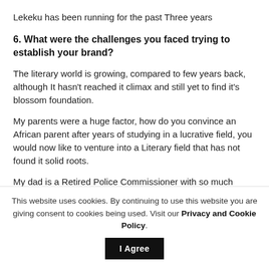Lekeku has been running for the past Three years
6. What were the challenges you faced trying to establish your brand?
The literary world is growing, compared to few years back, although It hasn't reached it climax and still yet to find it's blossom foundation.
My parents were a huge factor, how do you convince an African parent after years of studying in a lucrative field, you would now like to venture into a Literary field that has not found it solid roots.
My dad is a Retired Police Commissioner with so much
This website uses cookies. By continuing to use this website you are giving consent to cookies being used. Visit our Privacy and Cookie Policy.